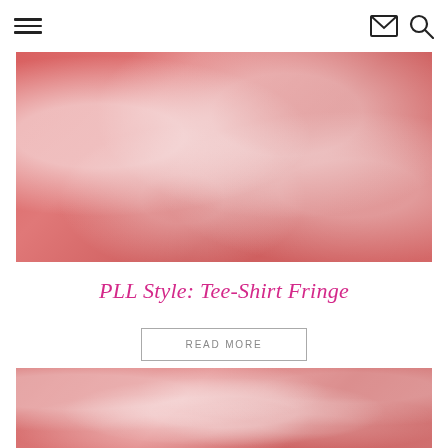Navigation menu, email icon, search icon
[Figure (photo): Rose-tinted watercolor-style floral background image, pink and white tones]
PLL Style: Tee-Shirt Fringe
READ MORE
[Figure (photo): Rose-tinted watercolor-style floral background image, pink and white tones, partially visible]